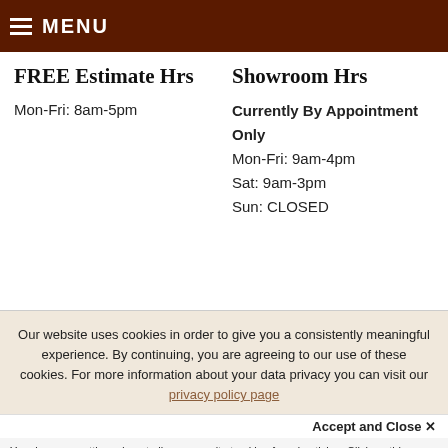MENU
FREE Estimate Hrs
Mon-Fri: 8am-5pm
Showroom Hrs
Currently By Appointment Only
Mon-Fri: 9am-4pm
Sat: 9am-3pm
Sun: CLOSED
Our website uses cookies in order to give you a consistently meaningful experience. By continuing, you are agreeing to our use of these cookies. For more information about your data privacy you can visit our privacy policy page
Accept and Close ✕
Your browser settings do not allow cross-site tracking for advertising. Click on this page to allow AdRoll to use cross-site tracking to tailor ads to you. Learn more or opt out of this AdRoll tracking by clicking here. This message only appears once.